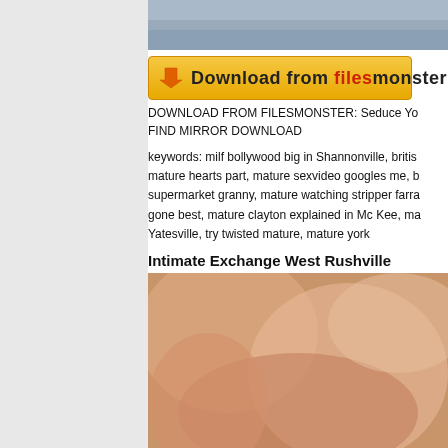[Figure (photo): Top portion of photo visible at top of page, showing fabric texture in gray/blue tones]
[Figure (screenshot): Download from FilesMonster banner button - orange/yellow gradient button with download arrow icon and text]
DOWNLOAD FROM FILESMONSTER: Seduce Yo
FIND MIRROR DOWNLOAD
keywords: milf bollywood big in Shannonville, britis mature hearts part, mature sexvideo googles me, b supermarket granny, mature watching stripper farra gone best, mature clayton explained in Mc Kee, ma Yatesville, try twisted mature, mature york
Intimate Exchange West Rushville
[Figure (photo): Close-up photo of people in an intimate/adult context]